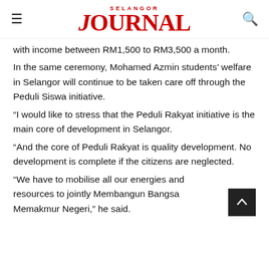SELANGOR JOURNAL
with income between RM1,500 to RM3,500 a month.
In the same ceremony, Mohamed Azmin students' welfare in Selangor will continue to be taken care off through the Peduli Siswa initiative.
“I would like to stress that the Peduli Rakyat initiative is the main core of development in Selangor.
“And the core of Peduli Rakyat is quality development. No development is complete if the citizens are neglected.
“We have to mobilise all our energies and resources to jointly Membangun Bangsa Memakmur Negeri,” he said.